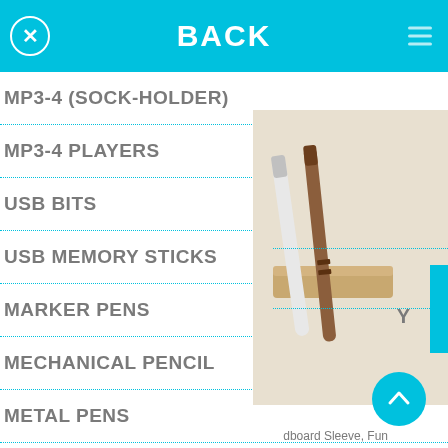BACK
MP3-4 (SOCK-HOLDER)
MP3-4 PLAYERS
USB BITS
USB MEMORY STICKS
MARKER PENS
MECHANICAL PENCIL
METAL PENS
PEN POTS (DESK TIDY)
[Figure (photo): Photo of chopsticks/pens on a wooden holder, partially visible on right side of screen]
dboard Sleeve, Fun